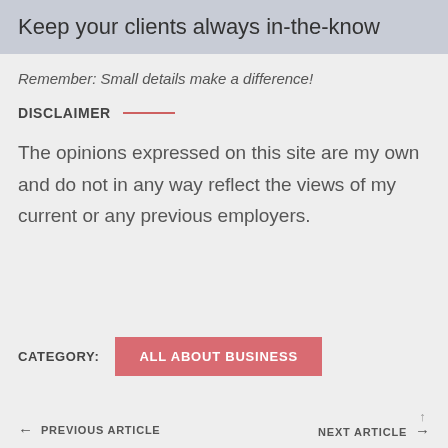Keep your clients always in-the-know
Remember: Small details make a difference!
DISCLAIMER
The opinions expressed on this site are my own and do not in any way reflect the views of my current or any previous employers.
CATEGORY:  ALL ABOUT BUSINESS
← PREVIOUS ARTICLE    NEXT ARTICLE →